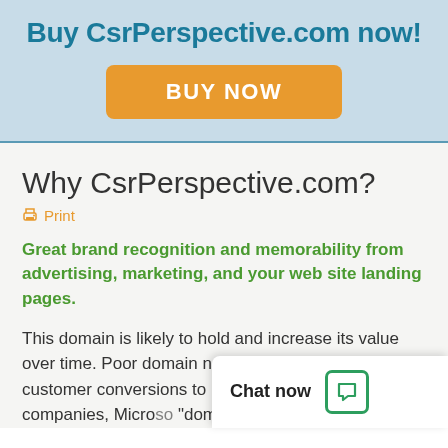Buy CsrPerspective.com now!
[Figure (other): Orange BUY NOW button]
Why CsrPerspective.com?
Print
Great brand recognition and memorability from advertising, marketing, and your web site landing pages.
This domain is likely to hold and increase its value over time. Poor domain names lose traffic and new customer conversions to better domain named companies, Micro... "domain bias in web...
Chat now